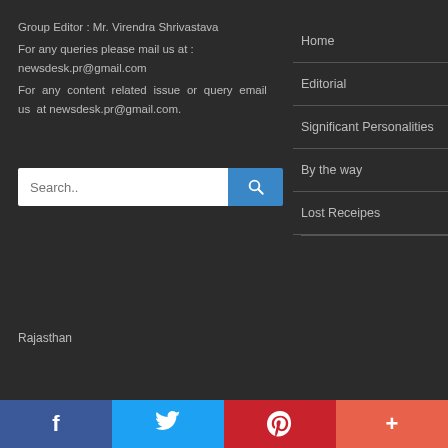Group Editor : Mr. Virendra Shrivastava
For any queries please mail us at : newsdesk.pr@gmail.com
For any content related issue or query email us at newsdesk.pr@gmail.com.
Home
Editorial
Significant Personalities
By the way
Lost Receipes
Rajasthan
Facebook | Twitter | Pinterest | +